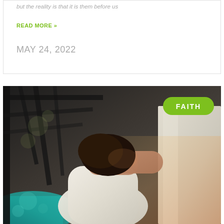but the reality is that it is them before us
READ MORE »
MAY 24, 2022
[Figure (photo): A person in a white shirt leaning against a wall with their head resting on crossed arms, photographed from behind with warm sunset light, architectural beams visible in background, teal pool area in lower left. A green 'FAITH' badge pill is overlaid in the upper right corner of the image.]